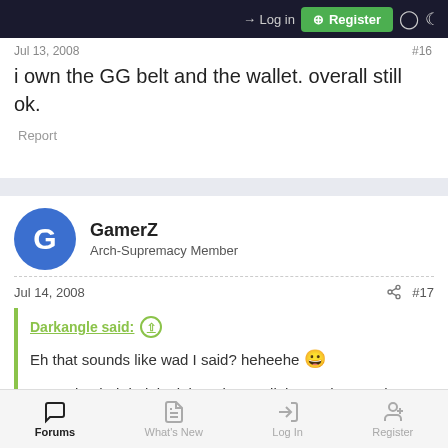Log in | Register
Jul 13, 2008  #16
i own the GG belt and the wallet. overall still ok.
Report
GamerZ
Arch-Supremacy Member
Jul 14, 2008  #17
Darkangle said: ↑
Eh that sounds like wad I said? heheehe 😀

Agreed....their belt look low class...all those ah mao ah gou also
Forums | What's New | Log In | Register